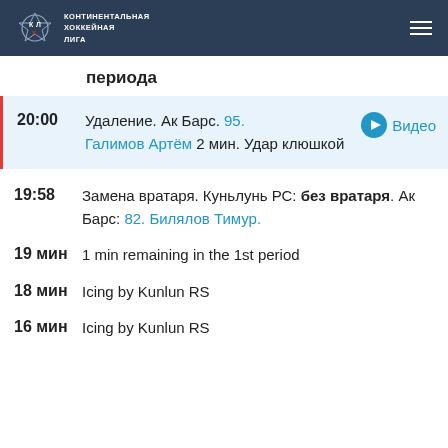КОНТИНЕНТАЛЬНАЯ ХОККЕЙНАЯ ЛИГА
периода
20:00 Удаление. Ак Барс. 95. Галимов Артём 2 мин. Удар клюшкой Видео
19:58 Замена вратаря. Куньлунь РС: без вратаря. Ак Барс: 82. Билялов Тимур.
19 мин 1 min remaining in the 1st period
18 мин Icing by Kunlun RS
16 мин Icing by Kunlun RS